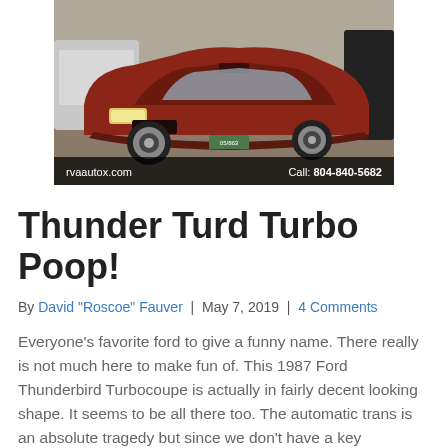[Figure (photo): A dark red/maroon Ford Thunderbird Turbocoupe parked in a lot, front 3/4 view, with other cars visible. Photo watermarked with rvaautox.com and phone number 804-840-5682.]
Thunder Turd Turbo Poop!
By David "Roscoe" Fauver | May 7, 2019 | 4 Comments
Everyone’s favorite ford to give a funny name. There really is not much here to make fun of. This 1987 Ford Thunderbird Turbocoupe is actually in fairly decent looking shape. It seems to be all there too. The automatic trans is an absolute tragedy but since we don’t have a key